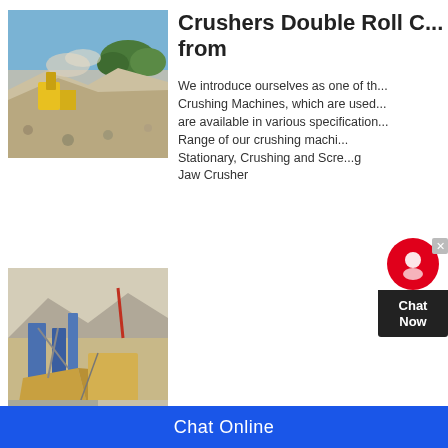[Figure (photo): Outdoor quarry/crusher site with yellow machinery and dust clouds, piles of gravel and stones, blue sky with trees in background.]
Crushers Double Roll C... from
We introduce ourselves as one of th... Crushing Machines, which are used... are available in various specification... Range of our crushing machi... Stationary, Crushing and Scre...g Jaw Crusher
[Figure (photo): Industrial crusher machinery outdoors with blue structures, dusty environment and mountains in background.]
Crusher Manufacturer fr... Jandu &
Roll Crusher. We have emerged as... engaged in offering an exclusive ran... skilled artisans
[Figure (photo): Crusher machine building/factory exterior, partially visible at bottom of page.]
Crusher Machine Manu...
Chat Online